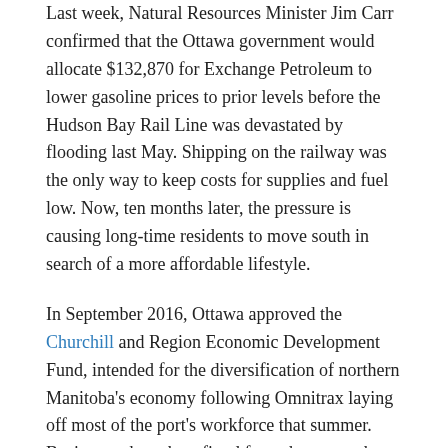Last week, Natural Resources Minister Jim Carr confirmed that the Ottawa government would allocate $132,870 for Exchange Petroleum to lower gasoline prices to prior levels before the Hudson Bay Rail Line was devastated by flooding last May. Shipping on the railway was the only way to keep costs for supplies and fuel low. Now, ten months later, the pressure is causing long-time residents to move south in search of a more affordable lifestyle.
In September 2016, Ottawa approved the Churchill and Region Economic Development Fund, intended for the diversification of northern Manitoba's economy following Omnitrax laying off most of the port's workforce that summer. Businesses have benefitted from the money by offsetting rising shipping costs of materials shipped by barge or airplane.
Last December Carr visited Churchill and announced the government would add $2.7 million to the existing